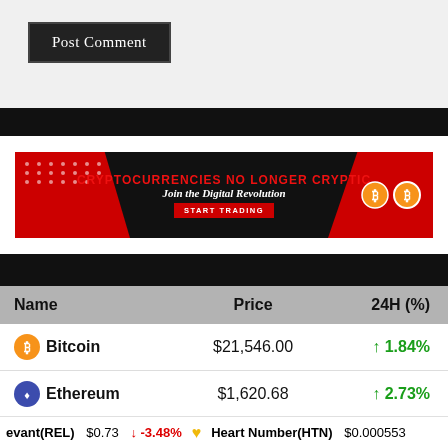[Figure (screenshot): Post Comment button on a grey webpage form area]
[Figure (infographic): Cryptocurrency trading advertisement banner: 'CRYPTOCURRENCIES NO LONGER CRYPTIC - Join the Digital Revolution - START TRADING' with Bitcoin logos]
| Name | Price | 24H (%) |
| --- | --- | --- |
| Bitcoin | $21,546.00 | ↑ 1.84% |
| Ethereum | $1,620.68 | ↑ 2.73% |
| Tether | $1.00 | ↑ 0.01% |
| BNB | $302.02 | ↑ 6.54% |
evant(REL) $0.73 ↓ -3.48%   Heart Number(HTN) $0.000553